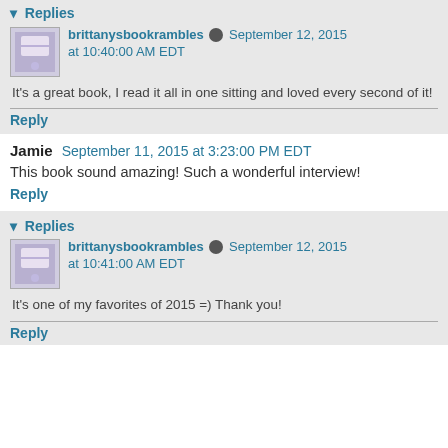▾ Replies
brittanysbookrambles September 12, 2015 at 10:40:00 AM EDT
It's a great book, I read it all in one sitting and loved every second of it!
Reply
Jamie September 11, 2015 at 3:23:00 PM EDT
This book sound amazing! Such a wonderful interview!
Reply
▾ Replies
brittanysbookrambles September 12, 2015 at 10:41:00 AM EDT
It's one of my favorites of 2015 =) Thank you!
Reply